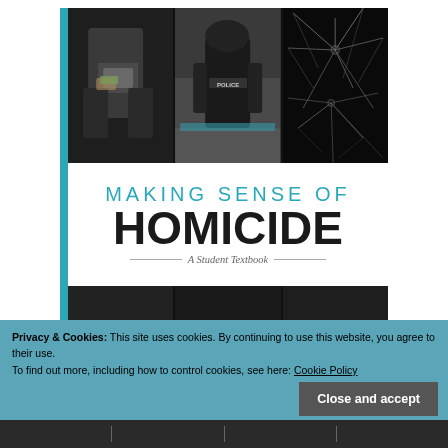[Figure (illustration): Book cover for 'Making Sense of Homicide: A Student Textbook'. Top portion shows three photos: a person in dark clothing handling money/documents, a police officer in tactical gear from behind, and shattered glass with bullet holes. Below the photos is the book title in large text on white background. The bottom of the cover shows additional dark photos.]
Privacy & Cookies: This site uses cookies. By continuing to use this website, you agree to their use.
To find out more, including how to control cookies, see here: Cookie Policy
Close and accept